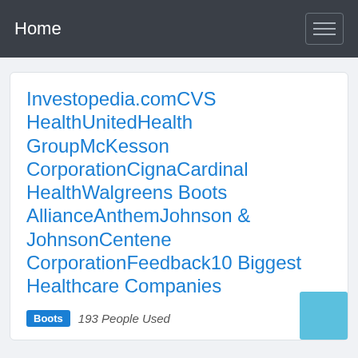Home
Investopedia.comCVS HealthUnitedHealth GroupMcKesson CorporationCignaCardinal HealthWalgreens Boots AllianceAnthemJohnson & JohnsonCentene CorporationFeedback10 Biggest Healthcare Companies
Boots  193 People Used